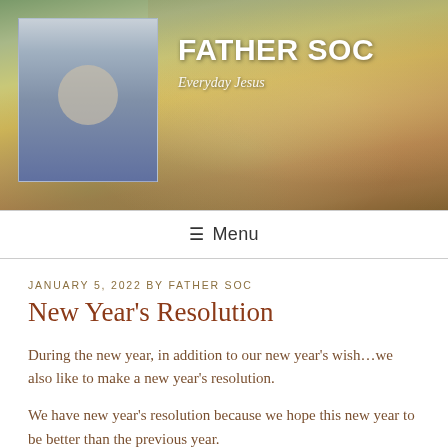[Figure (photo): Website header banner showing a priest in blue and gold vestments speaking at a microphone, with floral decorations in the background. A smaller thumbnail photo of a bishop in white vestments is overlaid on the left side. Site title 'FATHER SOC' and tagline 'Everyday Jesus' are displayed in white text.]
≡ Menu
JANUARY 5, 2022 BY FATHER SOC
New Year's Resolution
During the new year, in addition to our new year's wish…we also like to make a new year's resolution.
We have new year's resolution because we hope this new year to be better than the previous year.